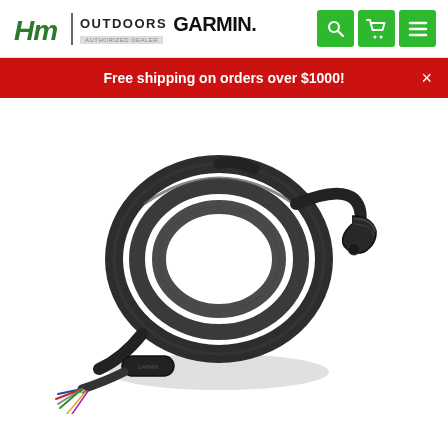K&M Outdoors GARMIN. Authorized Dealer
Free shipping on orders over $1000!
[Figure (photo): Coiled black Garmin power/data cable with bare wire leads on one end and a waterproof connector on the other, plus an inline module/fuse in the middle]